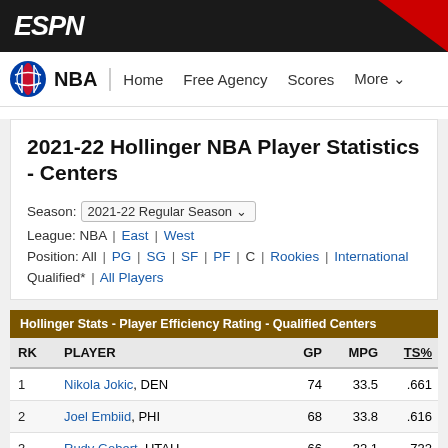ESPN
NBA | Home | Free Agency | Scores | More
2021-22 Hollinger NBA Player Statistics - Centers
Season: 2021-22 Regular Season
League: NBA | East | West
Position: All | PG | SG | SF | PF | C | Rookies | International
Qualified* | All Players
| RK | PLAYER | GP | MPG | TS% |
| --- | --- | --- | --- | --- |
| 1 | Nikola Jokic, DEN | 74 | 33.5 | .661 |
| 2 | Joel Embiid, PHI | 68 | 33.8 | .616 |
| 3 | Rudy Gobert, UTAH | 66 | 32.1 | .732 |
| 4 | Karl-Anthony Towns, MIN | 74 | 33.4 | .640 |
| 5 | Kristaps Porzingis, DAL/WSH | 51 | 29.0 | .577 |
| 6 | ..., WSH/SHA | 71 | 33.4 | .888 |